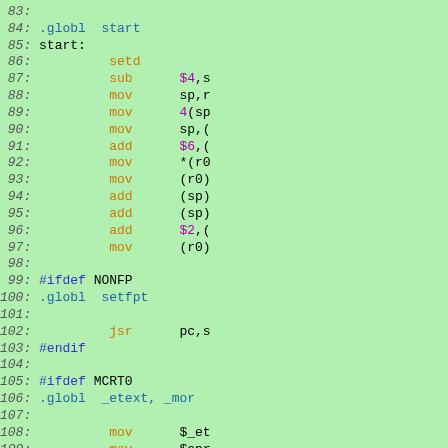[Figure (screenshot): Assembly/C source code listing with line numbers 83-112. Background is light green. Line numbers in italic gray, assembly instructions in orange, directives in blue, preprocessor directives in dark blue, labels and operands in black and purple.]